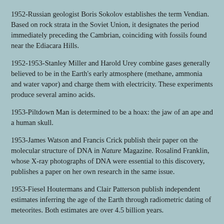1952-Russian geologist Boris Sokolov establishes the term Vendian. Based on rock strata in the Soviet Union, it designates the period immediately preceding the Cambrian, coinciding with fossils found near the Ediacara Hills.
1952-1953-Stanley Miller and Harold Urey combine gases generally believed to be in the Earth's early atmosphere (methane, ammonia and water vapor) and charge them with electricity. These experiments produce several amino acids.
1953-Piltdown Man is determined to be a hoax: the jaw of an ape and a human skull.
1953-James Watson and Francis Crick publish their paper on the molecular structure of DNA in Nature Magazine. Rosalind Franklin, whose X-ray photographs of DNA were essential to this discovery, publishes a paper on her own research in the same issue.
1953-Fiesel Houtermans and Clair Patterson publish independent estimates inferring the age of the Earth through radiometric dating of meteorites. Both estimates are over 4.5 billion years.
1953-1968-Dutch priest and archaeologist Theodor Verhoeven publishes a series of papers arguing that stone tools found on the island of Flores were made by Homo erectus around 750,000 years ago. His arguments are largely ignored or dismissed for decades.
1954-Elso Barghoorn and Stanley Tyler report the discovery of bacterial cells in Canadian rock formations that are nearly 2 billion years old.